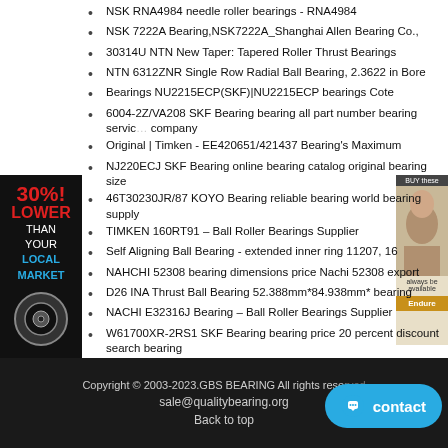NSK RNA4984 needle roller bearings - RNA4984
NSK 7222A Bearing,NSK7222A_Shanghai Allen Bearing Co.,
30314U NTN New Taper: Tapered Roller Thrust Bearings
NTN 6312ZNR Single Row Radial Ball Bearing, 2.3622 in Bore
Bearings NU2215ECP(SKF)|NU2215ECP bearings Cote
6004-2Z/VA208 SKF Bearing bearing all part number bearing service company
Original | Timken - EE420651/421437 Bearing's Maximum
NJ220ECJ SKF Bearing online bearing catalog original bearing size
46T30230JR/87 KOYO Bearing reliable bearing world bearing supply
TIMKEN 160RT91 – Ball Roller Bearings Supplier
Self Aligning Ball Bearing - extended inner ring 11207, 16
NAHCHI 52308 bearing dimensions price Nachi 52308 export
D26 INA Thrust Ball Bearing 52.388mm*84.938mm* bearing
NACHI E32316J Bearing – Ball Roller Bearings Supplier
W61700XR-2RS1 SKF Bearing bearing price 20 percent discount search bearing
[Figure (illustration): Left side advertisement banner: black background with red bold text '30%! LOWER' and white text 'THAN YOUR', blue text 'LOCAL MARKET', and a bearing image at bottom]
[Figure (photo): Top right advertisement showing a woman's face with product info and a yellow button]
Copyright © 2003-2023.GBS BEARING All rights reserved   sale@qualitybearing.org   Back to top